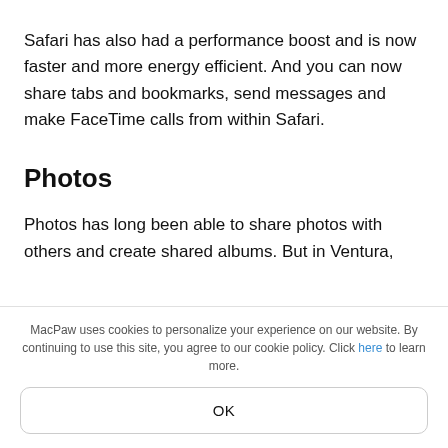Safari has also had a performance boost and is now faster and more energy efficient. And you can now share tabs and bookmarks, send messages and make FaceTime calls from within Safari.
Photos
Photos has long been able to share photos with others and create shared albums. But in Ventura,
MacPaw uses cookies to personalize your experience on our website. By continuing to use this site, you agree to our cookie policy. Click here to learn more.
OK